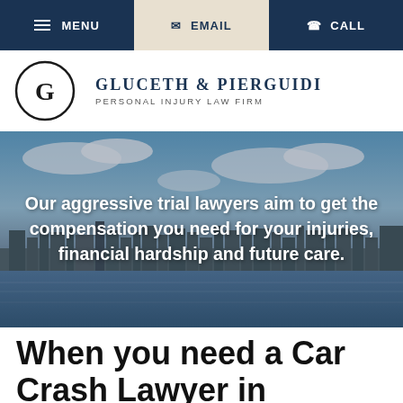MENU | EMAIL | CALL
[Figure (logo): Gluceth & Pierguidi Personal Injury Law Firm logo with circular GP monogram]
[Figure (photo): Panoramic city skyline with river in the foreground and blue cloudy sky — hero banner image for Gluceth & Pierguidi law firm website]
Our aggressive trial lawyers aim to get the compensation you need for your injuries, financial hardship and future care.
When you need a Car Crash Lawyer in Hoboken,